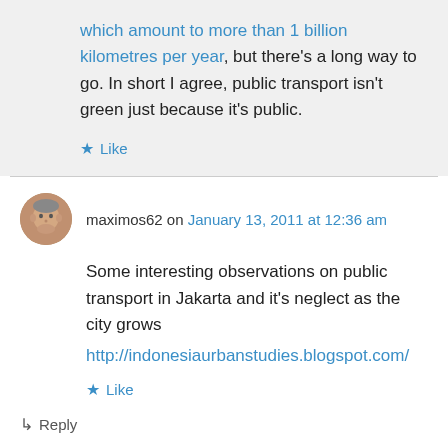which amount to more than 1 billion kilometres per year, but there's a long way to go. In short I agree, public transport isn't green just because it's public.
★ Like
maximos62 on January 13, 2011 at 12:36 am
Some interesting observations on public transport in Jakarta and it's neglect as the city grows
http://indonesiaurbanstudies.blogspot.com/
★ Like
↳ Reply